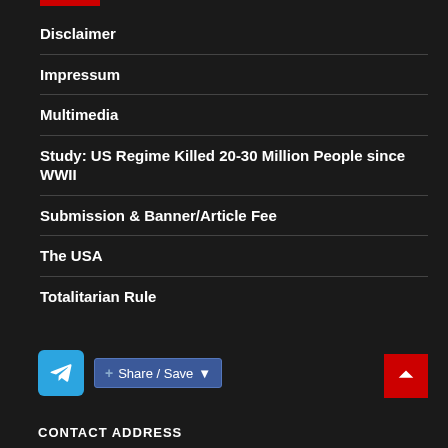Disclaimer
Impressum
Multimedia
Study: US Regime Killed 20-30 Million People since WWII
Submission & Banner/Article Fee
The USA
Totalitarian Rule
Share / Save
CONTACT ADDRESS